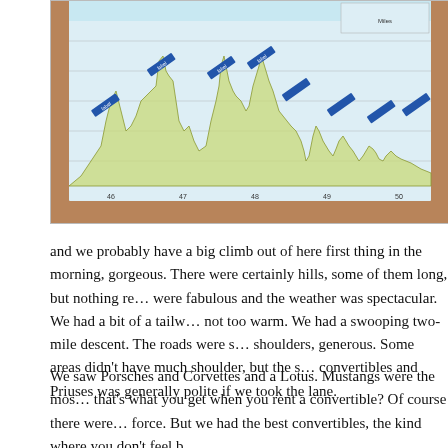[Figure (photo): A photograph of a folded elevation profile chart for what appears to be a cycling or hiking route, showing miles 46 through 50. The chart shows yellow/green shaded elevation data with various peaks and valleys, with diagonal label flags marking points along the route. The chart is lying on a wooden surface.]
and we probably have a big climb out of here first thing in the morning, gorgeous. There were certainly hills, some of them long, but nothing re... were fabulous and the weather was spectacular. We had a bit of a tailw... not too warm. We had a swooping two-mile descent. The roads were s... shoulders, generous. Some areas didn't have much shoulder, but the s... convertibles and Priuses was generally polite if we took the lane.
We saw Porsches and Corvettes and a Lotus. Mustangs were the mos... that's what you get when you rent a convertible? Of course there were ... force. But we had the best convertibles, the kind where you don't feel b...